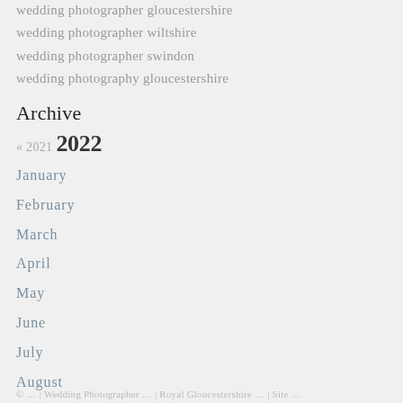wedding photographer gloucestershire
wedding photographer wiltshire
wedding photographer swindon
wedding photography gloucestershire
Archive
« 2021 2022
January
February
March
April
May
June
July
August
September
© … | Wedding Photographer … | Royal Gloucestershire … | Site …